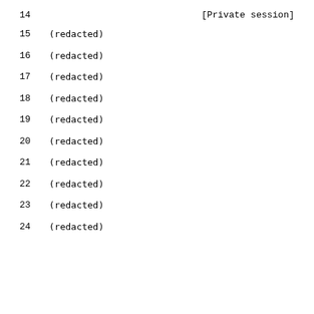14                                      [Private session]
15   (redacted)
16   (redacted)
17   (redacted)
18   (redacted)
19   (redacted)
20   (redacted)
21   (redacted)
22   (redacted)
23   (redacted)
24   (redacted)